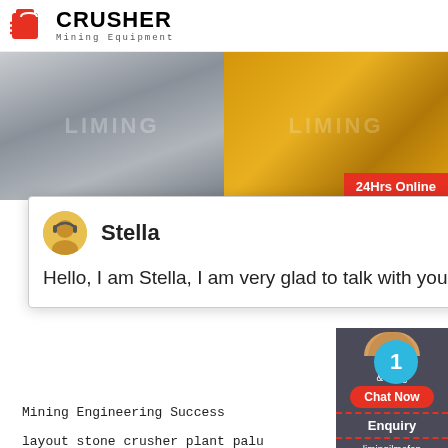CRUSHER Mining Equipment
[Figure (photo): Two side-by-side photos: left shows gray industrial building/equipment (LIMING watermark), right shows yellow mining equipment on truck (LIMING watermark). Red badge '24Hrs Online' bottom right.]
[Figure (screenshot): Chat popup from 'Stella' saying 'Hello, I am Stella, I am very glad to talk with you!' with avatar and close X button.]
Mining Engineering Success
layout stone crusher plant palu
Rock Crusher Cedar Rapids 442
windscreen trim front vehicle parts
machine suppliers crushers
vibrating grizzly feeder with pro
[Figure (infographic): Right sidebar: dark background with chat/enquiry panel, blue notification circle with '1', Chat Now red button, Enquiry label, limingjlmofen@sina.com email.]